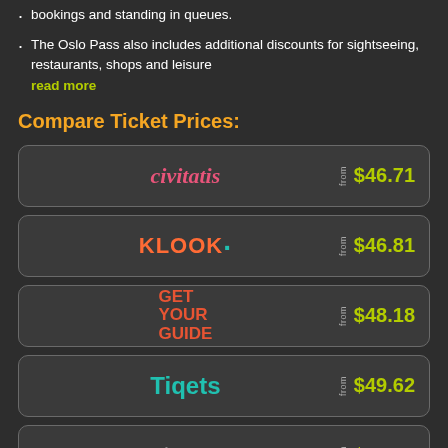bookings and standing in queues.
The Oslo Pass also includes additional discounts for sightseeing, restaurants, shops and leisure read more
Compare Ticket Prices:
| Provider | From | Price |
| --- | --- | --- |
| civitatis | from | $46.71 |
| KLOOK | from | $46.81 |
| GET YOUR GUIDE | from | $48.18 |
| Tiqets | from | $49.62 |
| viator | from | $53.54 |